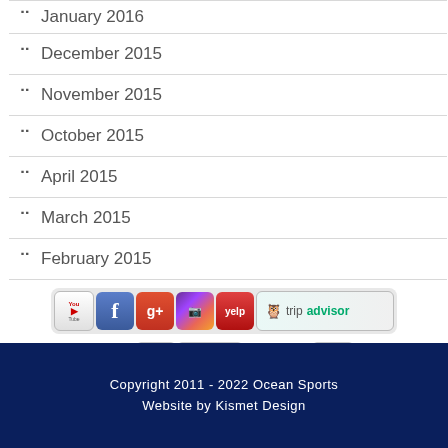January 2016
December 2015
November 2015
October 2015
April 2015
March 2015
February 2015
[Figure (screenshot): Social media icons: YouTube, Facebook, Google+, Instagram, Yelp, TripAdvisor; Payment icons: Visa, MasterCard, Discover, American Express, Shopify, PayPal]
Copyright 2011 - 2022 Ocean Sports
Website by Kismet Design